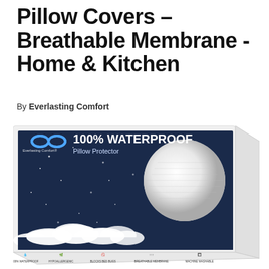Pillow Covers – Breathable Membrane -Home & Kitchen
By Everlasting Comfort
[Figure (photo): Product packaging box for Everlasting Comfort 100% Waterproof Pillow Protector. The box has a dark navy blue background with stars and a large moon showing a textured white pillow protector fabric. The top of the box shows the Everlasting Comfort infinity logo in blue, with text '100% WATERPROOF Pillow Protector'. The bottom of the box shows icons for: 100% Waterproof, Hypoallergenic, Blocks Bed Bugs, Breathable Membrane, Machine Washable.]